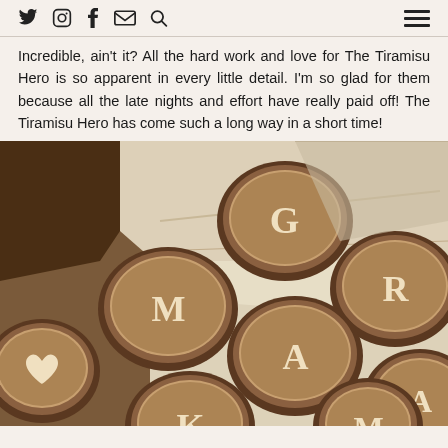Social media navigation bar with icons: twitter, instagram, facebook, email, search, and hamburger menu
Incredible, ain't it? All the hard work and love for The Tiramisu Hero is so apparent in every little detail. I'm so glad for them because all the late nights and effort have really paid off! The Tiramisu Hero has come such a long way in a short time!
[Figure (photo): Box of tiramisu desserts with individual round portions dusted with cocoa powder, each decorated with white letter stencils spelling out letters G, R, A, M, A, heart, and more characters arranged in a white bakery box.]